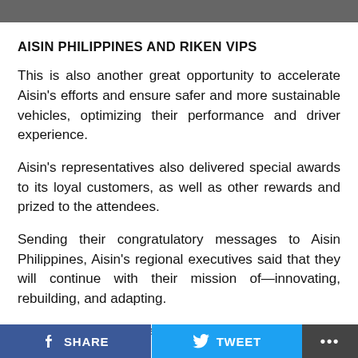[Figure (photo): Top image strip partially visible at the top of the page]
AISIN PHILIPPINES AND RIKEN VIPS
This is also another great opportunity to accelerate Aisin’s efforts and ensure safer and more sustainable vehicles, optimizing their performance and driver experience.
Aisin’s representatives also delivered special awards to its loyal customers, as well as other rewards and prized to the attendees.
Sending their congratulatory messages to Aisin Philippines, Aisin’s regional executives said that they will continue with their mission of—innovating, rebuilding, and adapting.
“For years, we have been at the forefront in the
SHARE   TWEET   •••